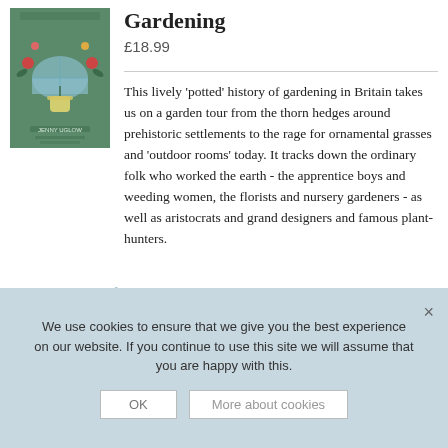[Figure (illustration): Book cover of 'A Little History of British Gardening' by Jenny Uglow, showing a green illustrated cover with garden motifs including plants, flowers, a greenhouse dome, and a vase, with the author name at the bottom.]
Gardening
£18.99
This lively 'potted' history of gardening in Britain takes us on a garden tour from the thorn hedges around prehistoric settlements to the rage for ornamental grasses and 'outdoor rooms' today. It tracks down the ordinary folk who worked the earth - the apprentice boys and weeding women, the florists and nursery gardeners - as well as aristocrats and grand designers and famous plant-hunters.
Add to basket
Details
We use cookies to ensure that we give you the best experience on our website. If you continue to use this site we will assume that you are happy with this.